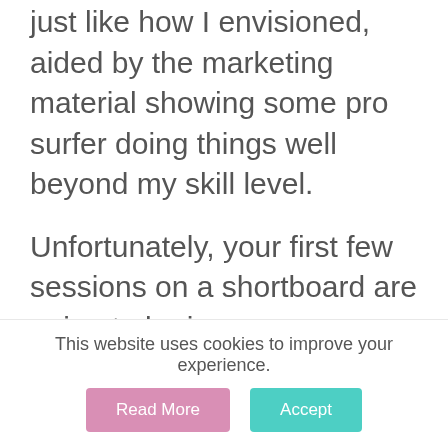just like how I envisioned, aided by the marketing material showing some pro surfer doing things well beyond my skill level.
Unfortunately, your first few sessions on a shortboard are going to be in some ways disappointing. Sure, the board feels so light under your arm walking down the beach and you can effortlessly push it over those first few waves. The first shock comes when you lie down on the board and most of it disappears underwater. Once you gain your balance to start to paddle but feel like something is dragging on
This website uses cookies to improve your experience.